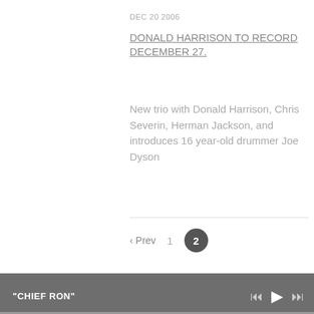DEC 20 2006
DONALD HARRISON TO RECORD DECEMBER 27.
New trio with Donald Harrison, Chris Severin, Herman Jackson, and introduces 16 year-old drummer Joe Dyson
‹ Prev   1   2
“A Genius ”
— Eddie Palmieri
"CHIEF RON"